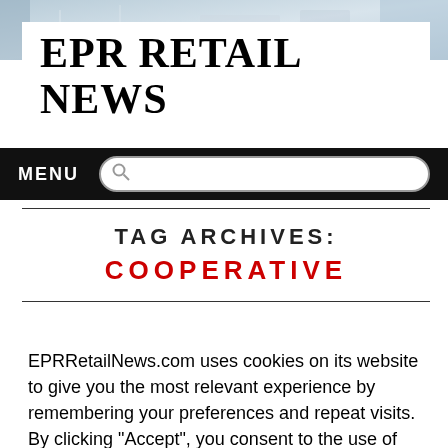[Figure (photo): Website header background with blurred retail store interior]
EPR RETAIL NEWS
MENU
TAG ARCHIVES:
COOPERATIVE
EPRRetailNews.com uses cookies on its website to give you the most relevant experience by remembering your preferences and repeat visits. By clicking “Accept”, you consent to the use of ALL the cookies.
Cookie settings
ACCEPT